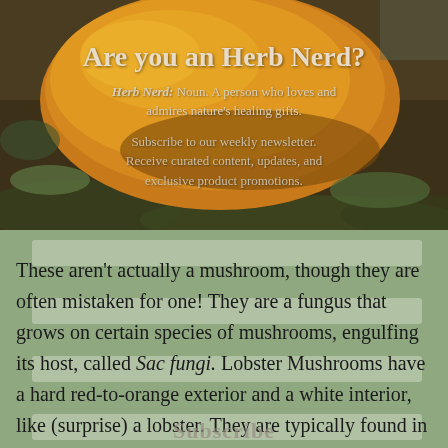[Figure (photo): A close-up photo of a large orange-yellow lobster mushroom growing on forest floor surrounded by green moss and leaves. The mushroom has a broad, curved cap with a vivid orange color.]
Are you an Herb Nerd?
Herb Nerd: Noun. A person who loves and admires nature's healing gifts.
Subscribe to our weekly newsletter. Receive curated content, updates, and exclusive product promotions.
These aren't actually a mushroom, though they are often mistaken for one! They are a fungus that grows on certain species of mushrooms, engulfing its host, called Sac fungi. Lobster Mushrooms have a hard red-to-orange exterior and a white interior, like (surprise) a lobster. They are typically found in old growth forests from late summer to fall. The best part? There